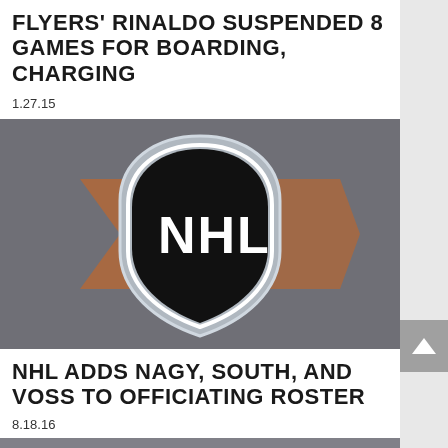FLYERS' RINALDO SUSPENDED 8 GAMES FOR BOARDING, CHARGING
1.27.15
[Figure (photo): NHL shield logo on a blurred background showing orange Flyers jersey details]
NHL ADDS NAGY, SOUTH, AND VOSS TO OFFICIATING ROSTER
8.18.16
[Figure (photo): Partially visible image at bottom of page, appears to be a hockey-related photo]